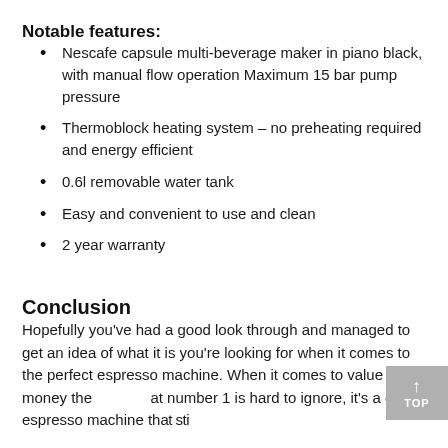Notable features:
Nescafe capsule multi-beverage maker in piano black, with manual flow operation Maximum 15 bar pump pressure
Thermoblock heating system – no preheating required and energy efficient
0.6l removable water tank
Easy and convenient to use and clean
2 year warranty
Conclusion
Hopefully you've had a good look through and managed to get an idea of what it is you're looking for when it comes to the perfect espresso machine. When it comes to value for money the [TOP button] at number 1 is hard to ignore, it's a cheap espresso machine that sti…